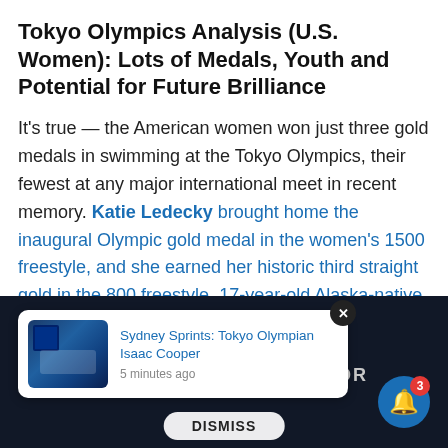Tokyo Olympics Analysis (U.S. Women): Lots of Medals, Youth and Potential for Future Brilliance
It's true — the American women won just three gold medals in swimming at the Tokyo Olympics, their fewest at any major international meet in recent memory. Katie Ledecky brought home the inaugural Olympic gold medal in the women's 1500 freestyle, and she earned her historic third straight gold in the 800 freestyle. 17-year-old Alaska-native Lydia Jacoby shocked the world by winning the 100 breaststroke. But the Americans were shut out of gold medals in the relays and in the
[Figure (screenshot): Notification card overlay showing 'Sydney Sprints: Tokyo Olympian Isaac Cooper' with a swimming photo thumbnail, posted 5 minutes ago, with a Dismiss button and a blue bell notification icon with badge showing 3. Background shows dark blue overlay with AVICTOR branding.]